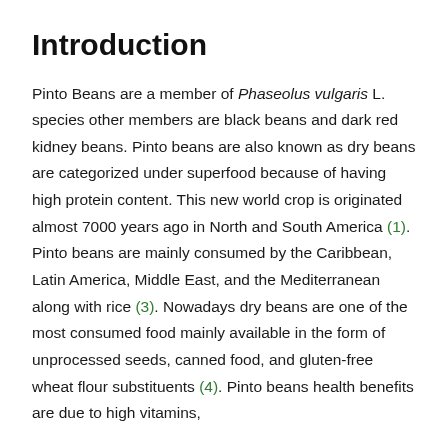Introduction
Pinto Beans are a member of Phaseolus vulgaris L. species other members are black beans and dark red kidney beans. Pinto beans are also known as dry beans are categorized under superfood because of having high protein content. This new world crop is originated almost 7000 years ago in North and South America (1). Pinto beans are mainly consumed by the Caribbean, Latin America, Middle East, and the Mediterranean along with rice (3). Nowadays dry beans are one of the most consumed food mainly available in the form of unprocessed seeds, canned food, and gluten-free wheat flour substituents (4). Pinto beans health benefits are due to high vitamins,